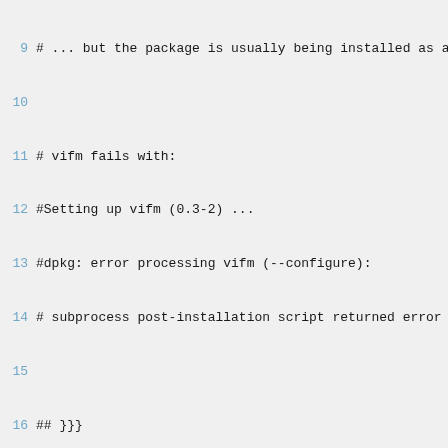Code listing lines 9-35 showing package list and comments
9  # ... but the package is usually being installed as a d
10
11 # vifm fails with:
12 #Setting up vifm (0.3-2) ...
13 #dpkg: error processing vifm (--configure):
14 # subprocess post-installation script returned error ex
15
16 ## }}}
17
18 ## grml specific packages {{{
19 3ware-cli-binary
20 aamath
21 advchk
22 aesutil
23 afflib
24 amap
25 asleap
26 bfa
27 bkp
28 btsco
29 cmospwd
30 cpuburn-in-binary
31 ctapi-cyberjack
32 ctris
33 dd-rhelp
34 ded
35 deletemail